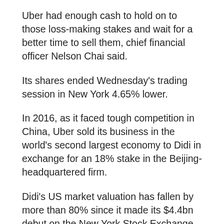Uber had enough cash to hold on to those loss-making stakes and wait for a better time to sell them, chief financial officer Nelson Chai said.
Its shares ended Wednesday's trading session in New York 4.65% lower.
In 2016, as it faced tough competition in China, Uber sold its business in the world's second largest economy to Didi in exchange for an 18% stake in the Beijing-headquartered firm.
Didi's US market valuation has fallen by more than 80% since it made its $4.4bn debut on the New York Stock Exchange (NYSE) last summer.
Within days of the listing China's internet regulator ordered online stores not to offer Didi's app, saying it illegally